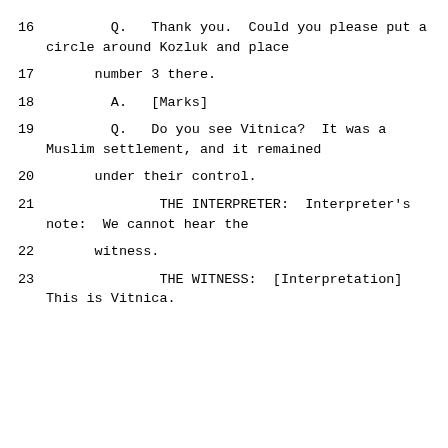16        Q.   Thank you.  Could you please put a circle around Kozluk and place
17      number 3 there.
18        A.   [Marks]
19        Q.   Do you see Vitnica?  It was a Muslim settlement, and it remained
20      under their control.
21              THE INTERPRETER:  Interpreter's note:  We cannot hear the
22      witness.
23              THE WITNESS:  [Interpretation] This is Vitnica.